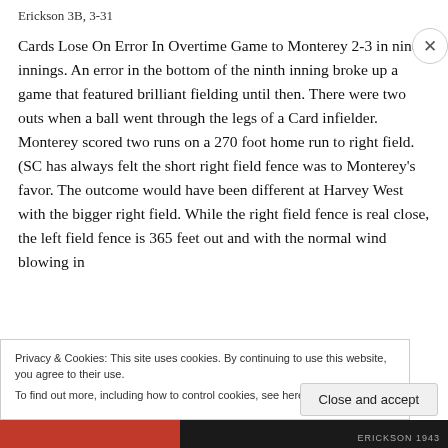Erickson 3B, 3-31
Cards Lose On Error In Overtime Game to Monterey 2-3 in nine innings. An error in the bottom of the ninth inning broke up a game that featured brilliant fielding until then. There were two outs when a ball went through the legs of a Card infielder. Monterey scored two runs on a 270 foot home run to right field. (SC has always felt the short right field fence was to Monterey’s favor. The outcome would have been different at Harvey West with the bigger right field. While the right field fence is real close, the left field fence is 365 feet out and with the normal wind blowing in
Privacy & Cookies: This site uses cookies. By continuing to use this website, you agree to their use.
To find out more, including how to control cookies, see here: Cookie Policy
Close and accept